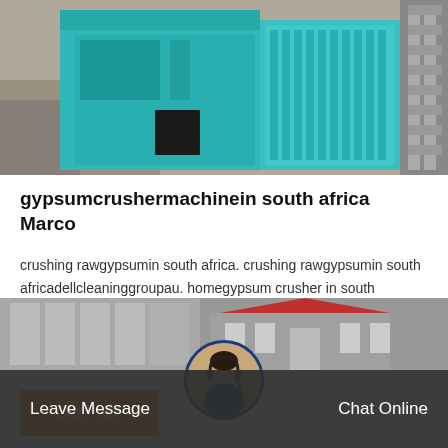[Figure (photo): Industrial gypsum crusher machine in teal/cyan color, shown outdoors with machinery components visible]
gypsumcrushermachinein south africa Marco
crushing rawgypsumin south africa. crushing rawgypsumin south africadellcleaninggroupau. homegypsum crusher in south africagypsumcrusher in south africak serieswheel mobile crushing plantis a new type of equipment developed on the basis of years …
Get Price
[Figure (photo): Industrial facility building exterior with red roof, shown in grayscale]
Leave Message
Chat Online